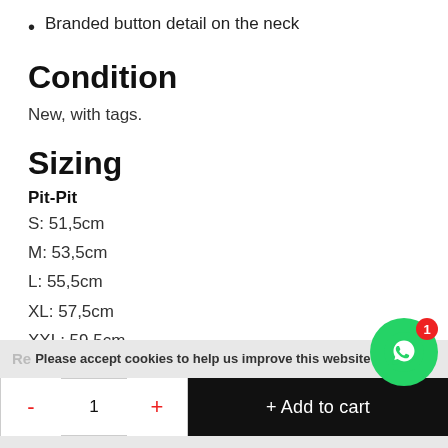Branded button detail on the neck
Condition
New, with tags.
Sizing
Pit-Pit
S: 51,5cm
M: 53,5cm
L: 55,5cm
XL: 57,5cm
XXL: 59,5cm
For questions about sizing, please contact us.
Please accept cookies to help us improve this website is th... | - 1 + | + Add to cart